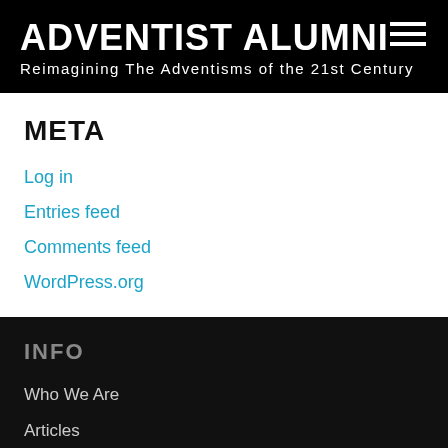ADVENTIST ALUMNI
Reimagining The Adventisms of the 21st Century
META
Log in
Entries feed
Comments feed
WordPress.org
INFO
Who We Are
Articles